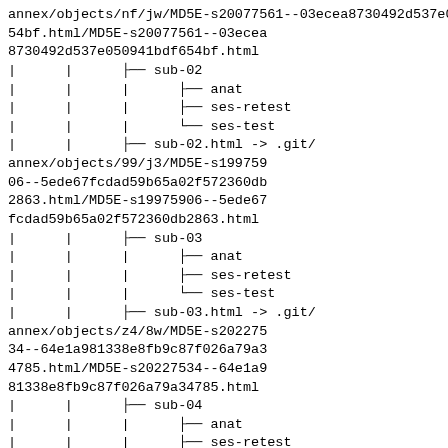annex/objects/nf/jw/MD5E-s20077561--03ecea8730492d537e050941bdf654bf.html/MD5E-s20077561--03ecea8730492d537e050941bdf654bf.html
|      |      ├── sub-02
|      |      |      ├── anat
|      |      |      ├── ses-retest
|      |      |      └── ses-test
|      |      ├── sub-02.html -> .git/annex/objects/99/j3/MD5E-s19975906--5ede67fcdad59b65a02f572360db2863.html/MD5E-s19975906--5ede67fcdad59b65a02f572360db2863.html
|      |      ├── sub-03
|      |      |      ├── anat
|      |      |      ├── ses-retest
|      |      |      └── ses-test
|      |      ├── sub-03.html -> .git/annex/objects/z4/8w/MD5E-s20227534--64e1a981338e8fb9c87f026a79a34785.html/MD5E-s20227534--64e1a981338e8fb9c87f026a79a34785.html
|      |      ├── sub-04
|      |      |      ├── anat
|      |      |      ├── ses-retest
|      |      |      └── ses-test
|      |      ├── sub-04.html -> .git/